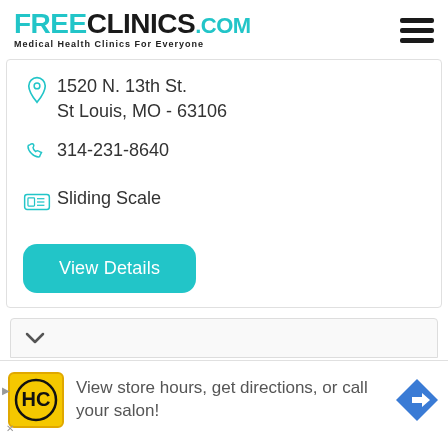[Figure (logo): FreeClinics.com logo with tagline 'Medical Health Clinics For Everyone' and hamburger menu icon]
1520 N. 13th St.
St Louis, MO - 63106
314-231-8640
Sliding Scale
View Details
[Figure (screenshot): Partial bottom card with chevron down arrow, advertisement bar: HC logo, 'View store hours, get directions, or call your salon!' with right-arrow road sign icon]